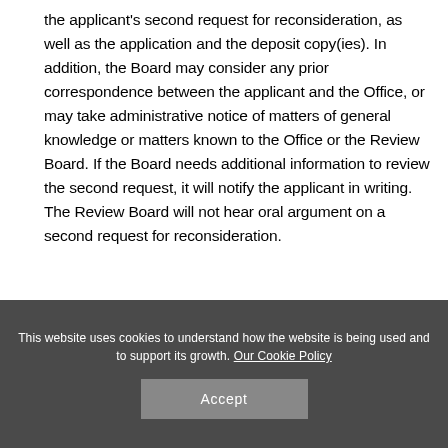the applicant's second request for reconsideration, as well as the application and the deposit copy(ies). In addition, the Board may consider any prior correspondence between the applicant and the Office, or may take administrative notice of matters of general knowledge or matters known to the Office or the Review Board. If the Board needs additional information to review the second request, it will notify the applicant in writing. The Review Board will not hear oral argument on a second request for reconsideration.
This website uses cookies to understand how the website is being used and to support its growth. Our Cookie Policy
Accept